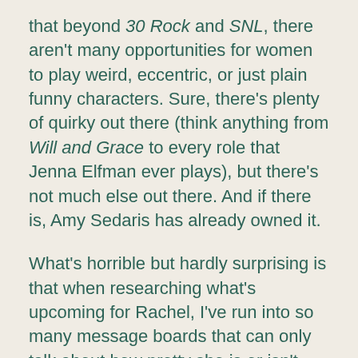that beyond 30 Rock and SNL, there aren't many opportunities for women to play weird, eccentric, or just plain funny characters.  Sure, there's plenty of quirky out there (think anything from Will and Grace to every role that Jenna Elfman ever plays), but there's not much else out there.  And if there is, Amy Sedaris has already owned it.
What's horrible but hardly surprising is that when researching what's upcoming for Rachel, I've run into so many message boards that can only talk about how pretty she is or isn't.  I'm not even going to comment on this beyond these statements:  If she were a dude, this wouldn't be an issue (hello 95% of highly paid